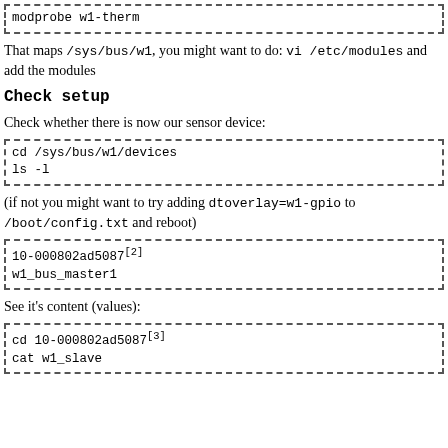modprobe w1-therm
That maps /sys/bus/w1, you might want to do: vi /etc/modules and add the modules
Check setup
Check whether there is now our sensor device:
cd /sys/bus/w1/devices
ls -l
(if not you might want to try adding dtoverlay=w1-gpio to /boot/config.txt and reboot)
10-000802ad5087[2]
w1_bus_master1
See it's content (values):
cd 10-000802ad5087[3]
cat w1_slave